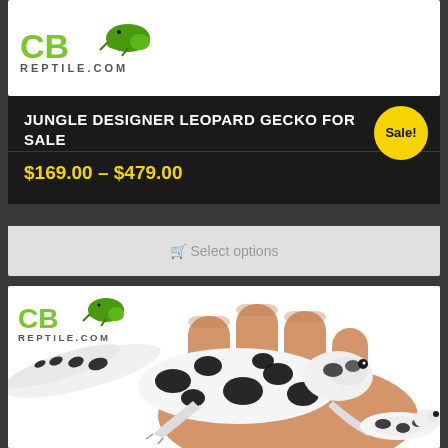[Figure (logo): CB Reptile.com logo with green gecko icon, top card]
JUNGLE DESIGNER LEOPARD GECKO FOR SALE
$169.00 – $479.00
Sale!
Select options
[Figure (photo): Two jungle designer leopard geckos with black and white spotted pattern resting on a human hand, against white background. CB Reptile.com logo visible in upper left.]